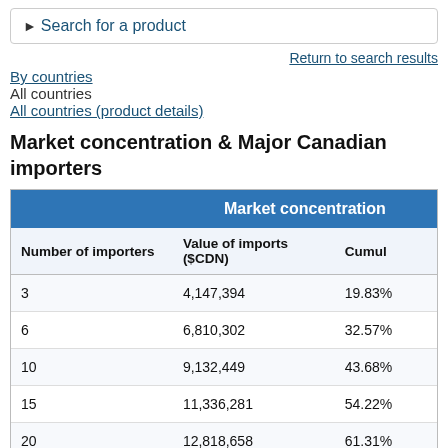► Search for a product
Return to search results
By countries
All countries
All countries (product details)
Market concentration & Major Canadian importers
| Number of importers | Value of imports ($CDN) | Cumul... |
| --- | --- | --- |
| 3 | 4,147,394 | 19.83% |
| 6 | 6,810,302 | 32.57% |
| 10 | 9,132,449 | 43.68% |
| 15 | 11,336,281 | 54.22% |
| 20 | 12,818,658 | 61.31% |